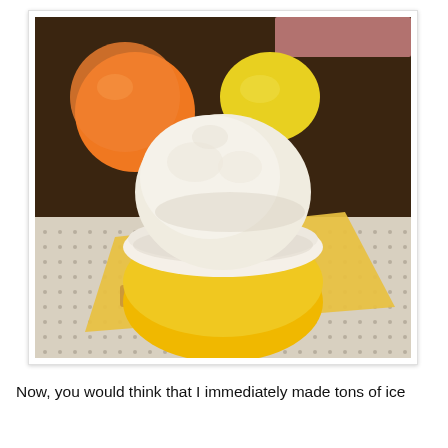[Figure (photo): A scoop of vanilla/citrus ice cream in a yellow and white bowl, placed on a yellow patterned napkin on a dotted placemat. An orange and a lemon are visible in the background on a dark wooden surface.]
Now, you would think that I immediately made tons of ice